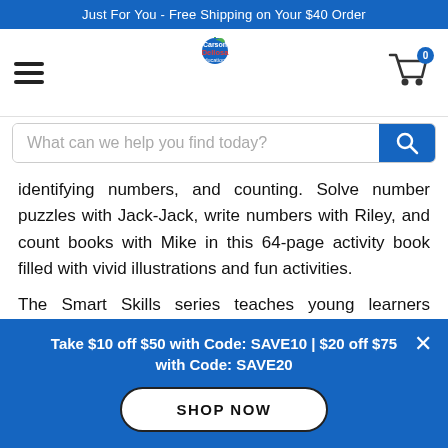Just For You - Free Shipping on Your $40 Order
[Figure (logo): Carson Dellosa Education logo with apple icon, navigation hamburger menu, and shopping cart with badge showing 0]
What can we help you find today?
identifying numbers, and counting. Solve number puzzles with Jack-Jack, write numbers with Riley, and count books with Mike in this 64-page activity book filled with vivid illustrations and fun activities.

The Smart Skills series teaches young learners essential skills with their favorite characters from the
Take $10 off $50 with Code: SAVE10 | $20 off $75 with Code: SAVE20
SHOP NOW